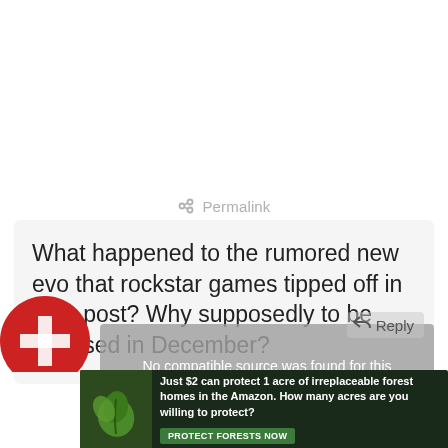Permalink
What happened to the rumored new evo that rockstar games tipped off in their post? Why supposedly to be released in December?
Reply
No compatible source was found for this media.
[Figure (other): Red circular avatar with white cross/plus symbol]
[Figure (other): Advertisement banner: Just $2 can protect 1 acre of irreplaceable forest homes in the Amazon. How many acres are you willing to protect? PROTECT FORESTS NOW]